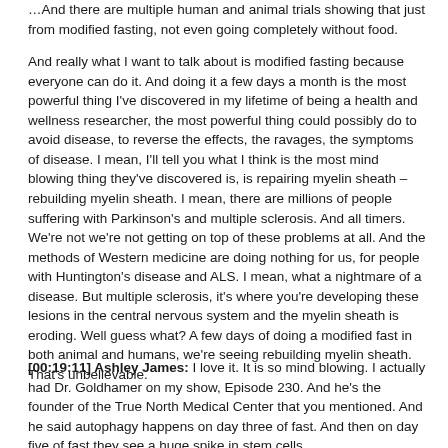…And there are multiple human and animal trials showing that just from modified fasting, not even going completely without food.
And really what I want to talk about is modified fasting because everyone can do it. And doing it a few days a month is the most powerful thing I've discovered in my lifetime of being a health and wellness researcher, the most powerful thing could possibly do to avoid disease, to reverse the effects, the ravages, the symptoms of disease. I mean, I'll tell you what I think is the most mind blowing thing they've discovered is, is repairing myelin sheath – rebuilding myelin sheath. I mean, there are millions of people suffering with Parkinson's and multiple sclerosis. And all timers. We're not we're not getting on top of these problems at all. And the methods of Western medicine are doing nothing for us, for people with Huntington's disease and ALS. I mean, what a nightmare of a disease. But multiple sclerosis, it's where you're developing these lesions in the central nervous system and the myelin sheath is eroding. Well guess what? A few days of doing a modified fast in both animal and humans, we're seeing rebuilding myelin sheath. That's unbelievable.
[00:19:11] Ashley James: I love it. It is so mind blowing. I actually had Dr. Goldhamer on my show, Episode 230. And he's the founder of the True North Medical Center that you mentioned. And he said autophagy happens on day three of fast. And then on day five of fast they see a huge spike in stem cells,